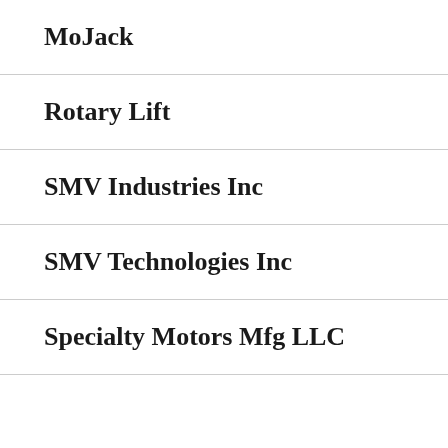MoJack
Rotary Lift
SMV Industries Inc
SMV Technologies Inc
Specialty Motors Mfg LLC